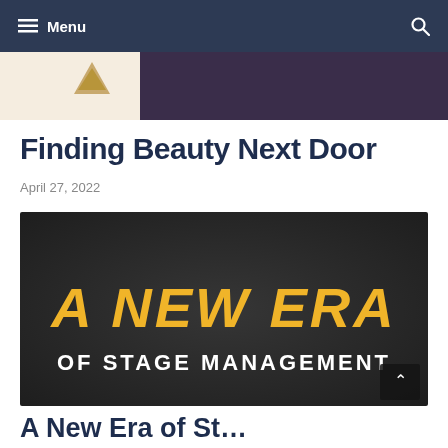Menu
[Figure (photo): Partial banner image showing a decorative item on left (cream background) and dark purple/blue background on right]
Finding Beauty Next Door
April 27, 2022
[Figure (photo): Dark chalkboard-style image with yellow bold italic text 'A NEW ERA' and white bold text 'OF STAGE MANAGEMENT']
A New Era of St...